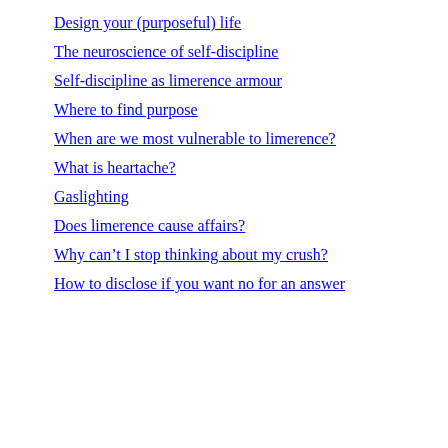Design your (purposeful) life
The neuroscience of self-discipline
Self-discipline as limerence armour
Where to find purpose
When are we most vulnerable to limerence?
What is heartache?
Gaslighting
Does limerence cause affairs?
Why can't I stop thinking about my crush?
How to disclose if you want no for an answer